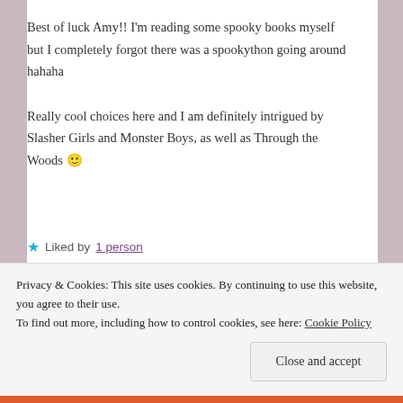Best of luck Amy!! I'm reading some spooky books myself but I completely forgot there was a spookython going around hahaha

Really cool choices here and I am definitely intrigued by Slasher Girls and Monster Boys, as well as Through the Woods 🙂
Liked by 1 person
Reply
Privacy & Cookies: This site uses cookies. By continuing to use this website, you agree to their use.
To find out more, including how to control cookies, see here: Cookie Policy
Close and accept